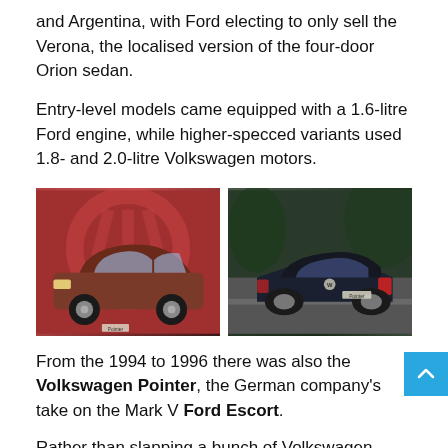and Argentina, with Ford electing to only sell the Verona, the localised version of the four-door Orion sedan.
Entry-level models came equipped with a 1.6-litre Ford engine, while higher-specced variants used 1.8- and 2.0-litre Volkswagen motors.
[Figure (photo): Two photos side by side: left shows a reddish-brown VW Pointer hatchback parked against a red backdrop with a VW logo; right shows a dark blue VW Pointer hatchback photographed from the rear-quarter while driving on a road.]
From the 1994 to 1996 there was also the Volkswagen Pointer, the German company's take on the Mark V Ford Escort.
Rather than slapping a bunch of Volkswagen badges on the Escort, and calling it a day, the Pointer featured quite a